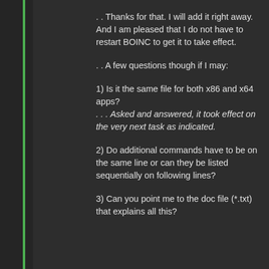. . Thanks for that. I will add it right away. And I am pleased that I do not have to restart BOINC to get it to take effect.
. . A few questions though if I may:
1) Is it the same file for both x86 and x64 apps?
. . . Asked and answered, it took effect on the very next task as indicated.
2) Do additional commands have to be on the same line or can they be listed sequentially on following lines?
3) Can you point me to the doc file (*.txt) that explains all this?